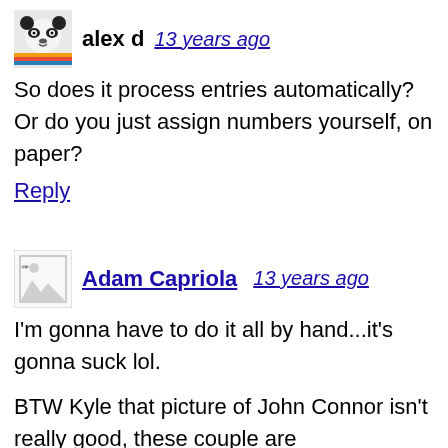[Figure (photo): Avatar image of a panda with a rainbow]
alex d  13 years ago
So does it process entries automatically? Or do you just assign numbers yourself, on paper?
Reply
[Figure (photo): Broken/placeholder image icon]
Adam Capriola  13 years ago
I'm gonna have to do it all by hand...it's gonna suck lol.
BTW Kyle that picture of John Connor isn't really good, these couple are